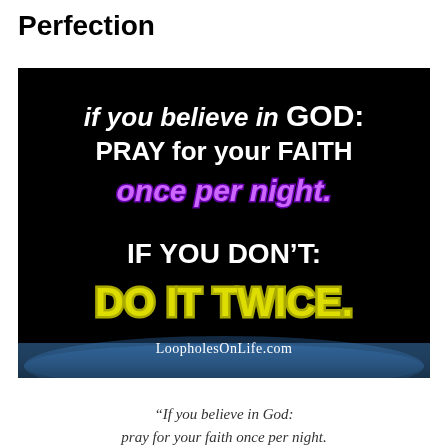Perfection
[Figure (other): Dark motivational image with text: 'if you believe in GOD: PRAY for your FAITH once per night. IF YOU DON'T: DO IT TWICE.' with website LoopholesOnLife.com at the bottom]
“If you believe in God: pray for your faith once per night.